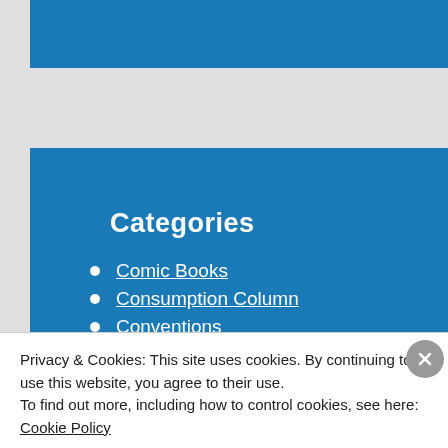[Figure (other): Top blue decorative bar of a website sidebar]
Categories
Comic Books
Consumption Column
Conventions
Editorials
Fanboy Comics Podcast
Privacy & Cookies: This site uses cookies. By continuing to use this website, you agree to their use.
To find out more, including how to control cookies, see here: Cookie Policy
Close and accept